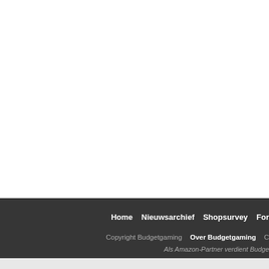Home  Nieuwsarchief  Shopsurvey  For
Copyright Budgetgaming  Over Budgetgaming  C
Als Amazon-Partner verdient Budge